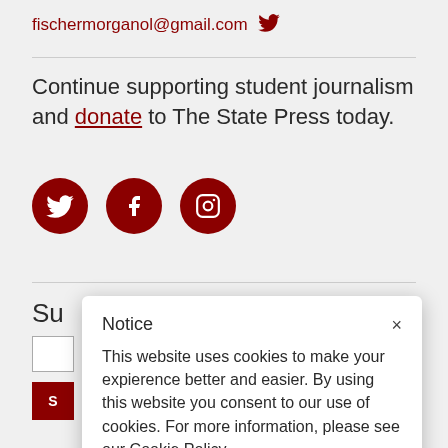fischermorganol@gmail.com
Continue supporting student journalism and donate to The State Press today.
[Figure (infographic): Three dark red circular social media icons: Twitter bird, Facebook f, and Instagram camera outline]
Su
Notice
This website uses cookies to make your expierence better and easier. By using this website you consent to our use of cookies. For more information, please see our Cookie Policy.